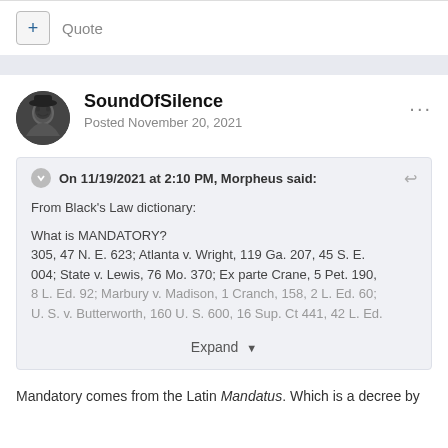[Figure (screenshot): Forum post UI with quote button bar]
+ Quote
SoundOfSilence
Posted November 20, 2021
On 11/19/2021 at 2:10 PM, Morpheus said:
From Black's Law dictionary:
What is MANDATORY?
305, 47 N. E. 623; Atlanta v. Wright, 119 Ga. 207, 45 S. E. 004; State v. Lewis, 76 Mo. 370; Ex parte Crane, 5 Pet. 190, 8 L. Ed. 92; Marbury v. Madison, 1 Cranch, 158, 2 L. Ed. 60; U. S. v. Butterworth, 160 U. S. 600, 16 Sup. Ct 441, 42 L. Ed.
Expand
Mandatory comes from the Latin Mandatus. Which is a decree by